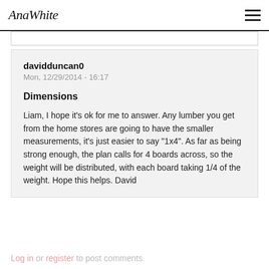AnaWhite
davidduncan0
Mon, 12/29/2014 - 16:17
Dimensions
Liam, I hope it's ok for me to answer. Any lumber you get from the home stores are going to have the smaller measurements, it's just easier to say "1x4". As far as being strong enough, the plan calls for 4 boards across, so the weight will be distributed, with each board taking 1/4 of the weight. Hope this helps. David
Log in or register to post comments